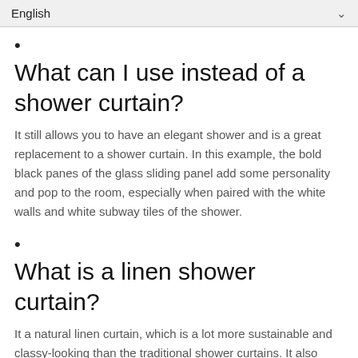English
•
What can I use instead of a shower curtain?
It still allows you to have an elegant shower and is a great replacement to a shower curtain. In this example, the bold black panes of the glass sliding panel add some personality and pop to the room, especially when paired with the white walls and white subway tiles of the shower.
•
What is a linen shower curtain?
It a natural linen curtain, which is a lot more sustainable and classy-looking than the traditional shower curtains. It also looks